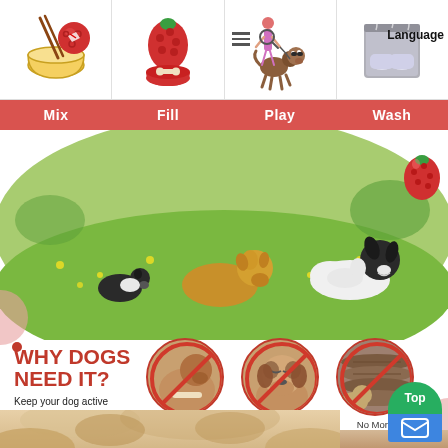[Figure (infographic): Top navigation row with four icon cells: Mix (bowl with ingredients), Fill (strawberry toy with food bowl), Play (dog being walked, hamburger menu, search icon, Language button), Wash (shoes in dishwasher)]
Mix
Fill
Play
Wash
[Figure (photo): Three dogs playing on a green grassy field with yellow wildflowers. One golden/tan dog in the center, one black and white dog on left, one black and white spaniel on right. A strawberry-shaped dog toy visible on far right.]
WHY DOGS NEED IT?
Keep your dog active every day!
[Figure (infographic): Three circular images with red no/prohibition sign overlay: 1) Dog chewing something - labelled 'No More Chewing', 2) Bored-looking beagle - labelled 'No More boredom', 3) Dog beside firewood - labelled 'No More Separation anxiety']
No More Chewing
No More boredom
No More Separation anxiety
[Figure (photo): Close-up of a dog's face (beagle/hound type) filling the bottom of the page, with a 'Top' green button and blue email/mail icon button in the bottom right corner]